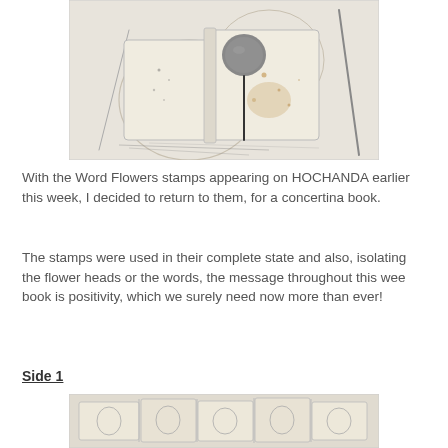[Figure (photo): A handmade concertina book with aged, textured white/cream pages, a grey circular stone or embellishment on top, and dark ink markings or pen marks, arranged on a light background with circular pencil sketch lines.]
With the Word Flowers stamps appearing on HOCHANDA earlier this week, I decided to return to them, for a concertina book.
The stamps were used in their complete state and also, isolating the flower heads or the words, the message throughout this wee book is positivity, which we surely need now more than ever!
Side 1
[Figure (photo): A partial view of a concertina book opened out, showing aged cream/tan pages with stamped designs and markings, photographed from above.]